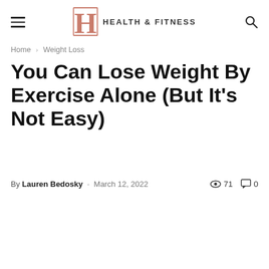HEALTH & FITNESS
Home › Weight Loss
You Can Lose Weight By Exercise Alone (But It's Not Easy)
By Lauren Bedosky - March 12, 2022  71  0